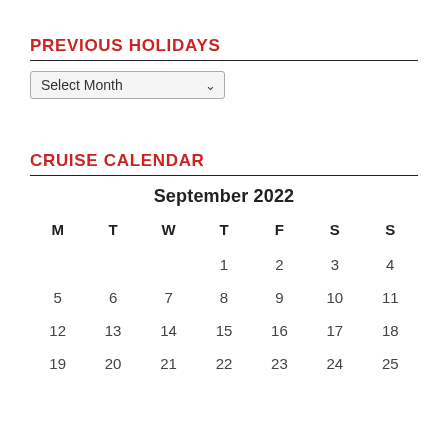PREVIOUS HOLIDAYS
[Figure (other): Dropdown select element with label 'Select Month' and a down arrow]
CRUISE CALENDAR
| M | T | W | T | F | S | S |
| --- | --- | --- | --- | --- | --- | --- |
|  |  |  | 1 | 2 | 3 | 4 |
| 5 | 6 | 7 | 8 | 9 | 10 | 11 |
| 12 | 13 | 14 | 15 | 16 | 17 | 18 |
| 19 | 20 | 21 | 22 | 23 | 24 | 25 |